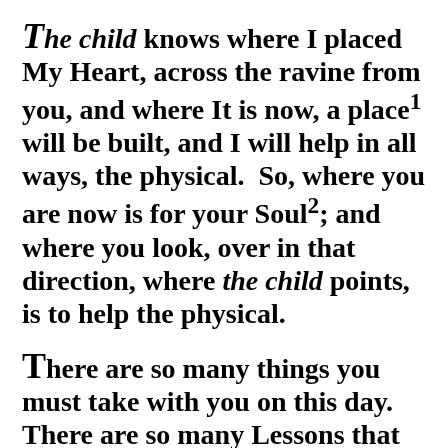The child knows where I placed My Heart, across the ravine from you, and where It is now, a place1 will be built, and I will help in all ways, the physical.  So, where you are now is for your Soul2; and where you look, over in that direction, where the child points, is to help the physical.
There are so many things you must take with you on this day.  There are so many Lessons that have been taught to you in a special way.  I bless you with My Love, I